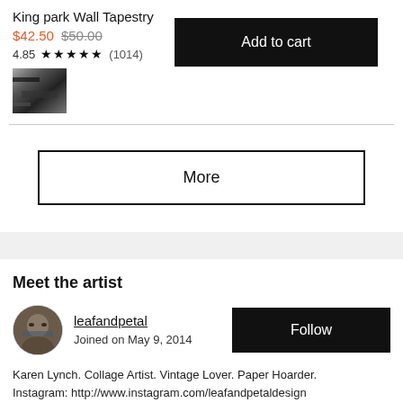King park Wall Tapestry
$42.50 $50.00
4.85 ★★★★★ (1014)
[Figure (photo): Thumbnail image of tapestry product, partial view with dark abstract pattern]
More
Meet the artist
[Figure (photo): Circular avatar photo of artist, face partially visible with dark tones]
leafandpetal
Joined on May 9, 2014
Karen Lynch. Collage Artist. Vintage Lover. Paper Hoarder. Instagram: http://www.instagram.com/leafandpetaldesign